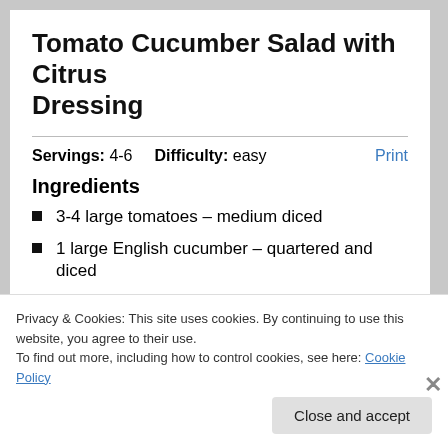Tomato Cucumber Salad with Citrus Dressing
Servings: 4-6   Difficulty: easy   Print
Ingredients
3-4 large tomatoes – medium diced
1 large English cucumber – quartered and diced
small bunch green onions – thinly sliced
Privacy & Cookies: This site uses cookies. By continuing to use this website, you agree to their use.
To find out more, including how to control cookies, see here: Cookie Policy
Close and accept